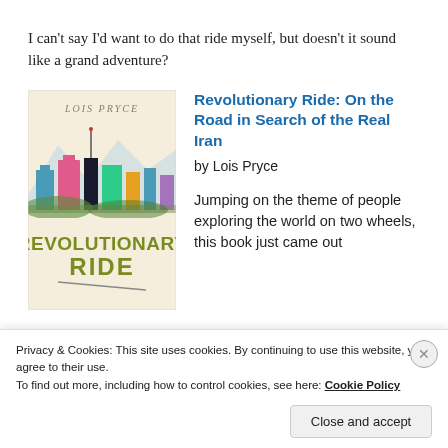I can't say I'd want to do that ride myself, but doesn't it sound like a grand adventure?
[Figure (illustration): Book cover of 'Revolutionary Ride' by Lois Pryce, showing a colorful city skyline with mountains and the title in large olive/yellow letters.]
Revolutionary Ride: On the Road in Search of the Real Iran by Lois Pryce

Jumping on the theme of people exploring the world on two wheels, this book just came out
Privacy & Cookies: This site uses cookies. By continuing to use this website, you agree to their use.
To find out more, including how to control cookies, see here: Cookie Policy
Close and accept